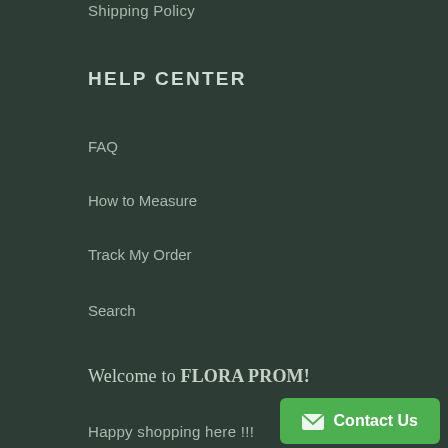Shipping Policy
HELP CENTER
FAQ
How to Measure
Track My Order
Search
Welcome to FLORA PROM!
Happy shopping here !!!
Contact Us